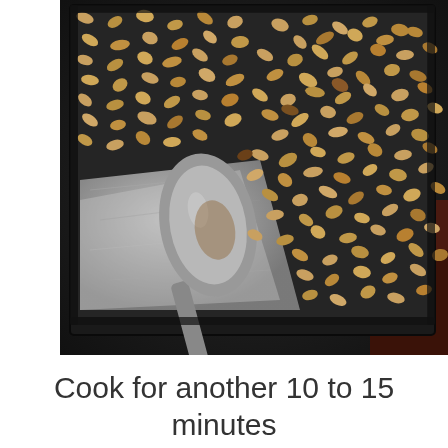[Figure (photo): A baking sheet lined with aluminum foil covered in roasted pumpkin seeds, with a metal spoon resting on the sheet. The seeds are golden brown and spread across the pan. The pan sits on a dark oven rack.]
Cook for another 10 to 15 minutes